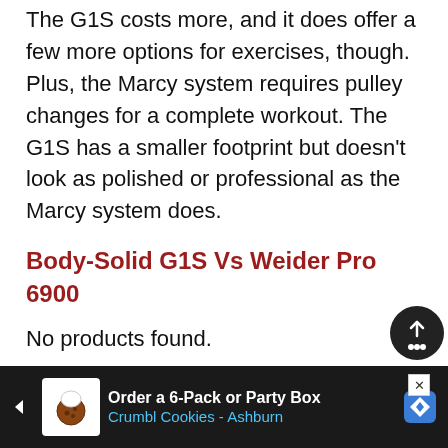The G1S costs more, and it does offer a few more options for exercises, though. Plus, the Marcy system requires pulley changes for a complete workout. The G1S has a smaller footprint but doesn't look as polished or professional as the Marcy system does.
Body-Solid G1S Vs Weider Pro 6900
No products found.
[Figure (photo): Partial view of an advertisement showing hands holding a heart-shaped cookie on a green background, with an X close button in the top right corner.]
[Figure (infographic): Advertisement banner for Crumbl Cookies - Ashburn: 'Order a 6-Pack or Party Box' with cookie logo icon and blue diamond navigation icon on dark background.]